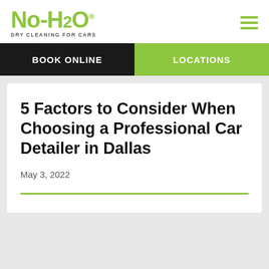No-H2O® DRY CLEANING FOR CARS
BOOK ONLINE
LOCATIONS
5 Factors to Consider When Choosing a Professional Car Detailer in Dallas
May 3, 2022